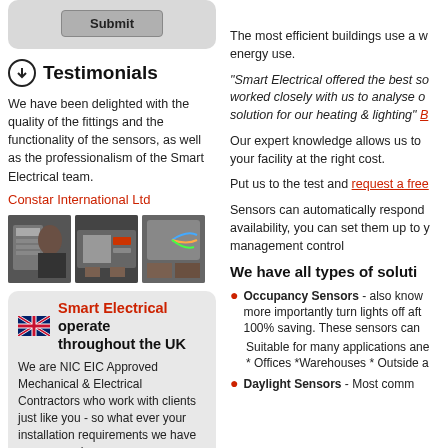Submit
Testimonials
We have been delighted with the quality of the fittings and the functionality of the sensors, as well as the professionalism of the Smart Electrical team.
Constar International Ltd
[Figure (photo): Three photos of electricians working on electrical installations and wiring]
Smart Electrical operate throughout the UK
We are NIC EIC Approved Mechanical & Electrical Contractors who work with clients just like you - so what ever your installation requirements we have you covered.
New projects or refurbishments
Additional lighting or new schemes
The most efficient buildings use a w energy use.
"Smart Electrical offered the best so worked closely with us to analyse o solution for our heating & lighting" B
Our expert knowledge allows us to your facility at the right cost.
Put us to the test and request a free
Sensors can automatically respond availability, you can set them up to y management control
We have all types of soluti
Occupancy Sensors - also know more importantly turn lights off aft 100% saving. These sensors can
Suitable for many applications ane * Offices *Warehouses * Outside a
Daylight Sensors - Most comm